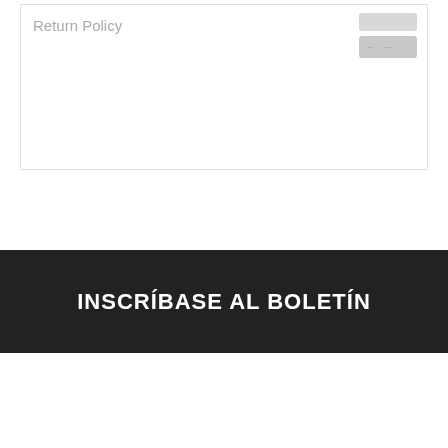Return Policy
[Figure (illustration): Credit card icon with two horizontal bars, top bar plain gray and bottom bar darker gray with dashes resembling card number]
INSCRÍBASE AL BOLETÍN